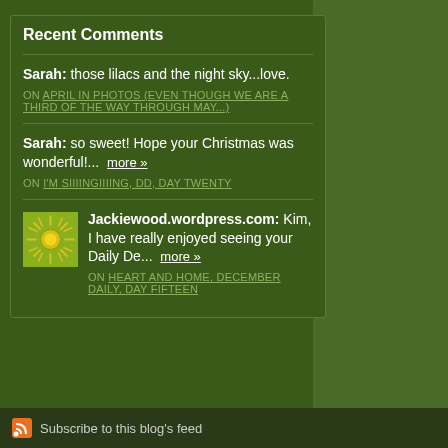Recent Comments
Sarah: those lilacs and the night sky...love.
ON APRIL IN PHOTOS (EVEN THOUGH WE ARE A THIRD OF THE WAY THROUGH MAY...)
Sarah: so sweet! Hope your Christmas was wonderful!... more »
ON I'M SIIIINGIIIING, DD, DAY TWENTY
Jackiewood.wordpress.com: Kim, I have really enjoyed seeing your Daily De... more »
ON HEART AND HOME, DECEMBER DAILY, DAY FIFTEEN
Subscribe to this blog's feed